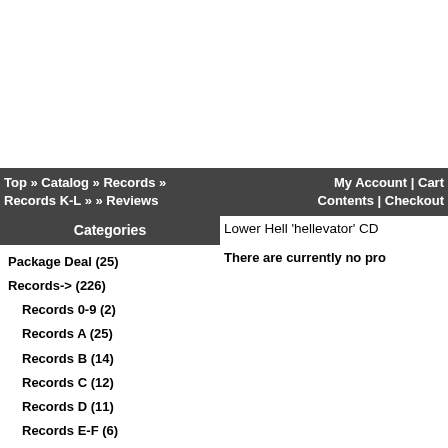Top » Catalog » Records » Records K-L » » Reviews | My Account | Cart Contents | Checkout
Categories
Lower Hell 'hellevator' CD
There are currently no pro
Package Deal (25)
Records-> (226)
Records 0-9 (2)
Records A (25)
Records B (14)
Records C (12)
Records D (11)
Records E-F (6)
Records G-H (16)
Records I-J (27)
Records K-L (11)
Records M-N (13)
Records O-P (10)